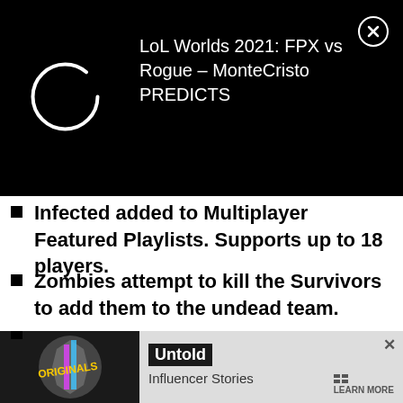[Figure (screenshot): Black banner with loading circle spinner and text: LoL Worlds 2021: FPX vs Rogue - MonteCristo PREDICTS, with close X button]
Infected added to Multiplayer Featured Playlists. Supports up to 18 players.
Zombies attempt to kill the Survivors to add them to the undead team.
The remaining Survivors win if they beat the clock, or the Zombies win if they turn every Survivor.
Survivors will earn a bonus with each Zombie they kill:
Bonus to reload speed
[Figure (screenshot): Advertisement banner for Originals Influencer Stories with Untold title and LEARN MORE button]